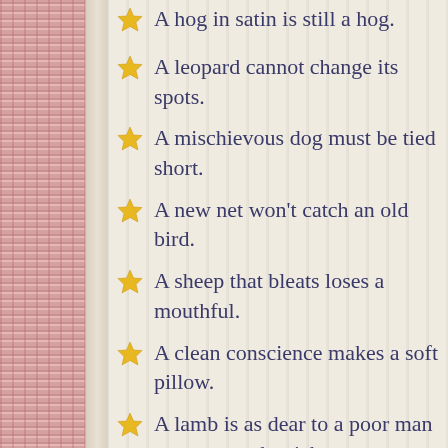A hog in satin is still a hog.
A leopard cannot change its spots.
A mischievous dog must be tied short.
A new net won't catch an old bird.
A sheep that bleats loses a mouthful.
A clean conscience makes a soft pillow.
A lamb is as dear to a poor man as an ox to the rich.
A false friend and a shadow stay only while the sun shines.
A big wife and a big barn never did a man any harm.
A sheep that is no trouble to shear has li...